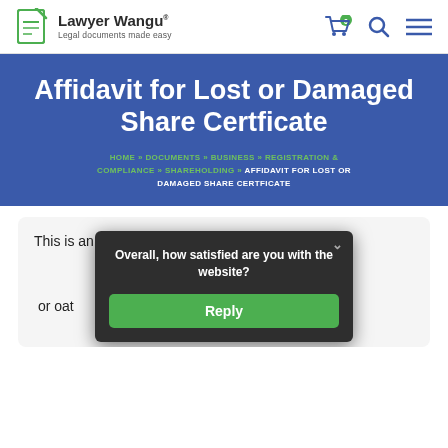Lawyer Wangu® — Legal documents made easy
Affidavit for Lost or Damaged Share Certficate
HOME » DOCUMENTS » BUSINESS » REGISTRATION & COMPLIANCE » SHAREHOLDING » AFFIDAVIT FOR LOST OR DAMAGED SHARE CERTFICATE
This is an affidavit sworn by a shareholder in support of a request for the replacement of a lost share certificate. The affidavit is sworn by the shareholder under a Commissioner for oaths...
Overall, how satisfied are you with the website?